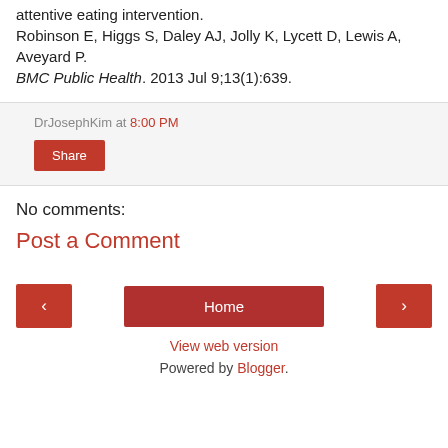attentive eating intervention. Robinson E, Higgs S, Daley AJ, Jolly K, Lycett D, Lewis A, Aveyard P. BMC Public Health. 2013 Jul 9;13(1):639.
DrJosephKim at 8:00 PM
Share
No comments:
Post a Comment
< Home >
View web version
Powered by Blogger.